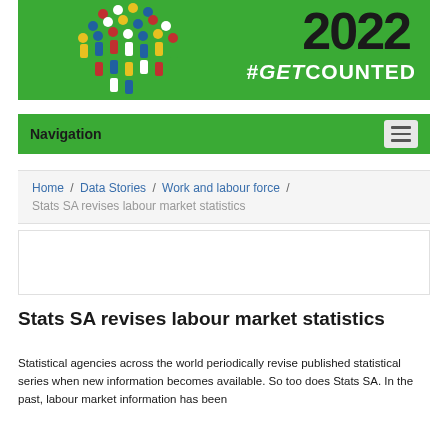[Figure (illustration): Census 2022 banner with green background, colourful people silhouettes on left, large '2022' text in black, and '#GETCOUNTED' slogan in white on right]
Navigation
Home / Data Stories / Work and labour force / Stats SA revises labour market statistics
[Figure (other): Empty white advertisement or placeholder box with border]
Stats SA revises labour market statistics
Statistical agencies across the world periodically revise published statistical series when new information becomes available. So too does Stats SA. In the past, labour market information has been